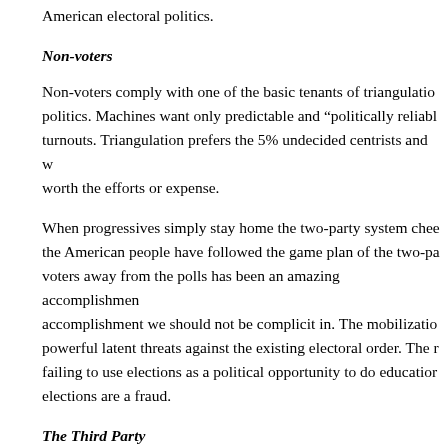American electoral politics.
Non-voters
Non-voters comply with one of the basic tenants of triangulation politics. Machines want only predictable and “politically reliable” turnouts. Triangulation prefers the 5% undecided centrists and w worth the efforts or expense.
When progressives simply stay home the two-party system chee the American people have followed the game plan of the two-pa voters away from the polls has been an amazing accomplishmer accomplishment we should not be complicit in. The mobilizatio powerful latent threats against the existing electoral order. The r failing to use elections as a political opportunity to do educatior elections are a fraud.
The Third Party